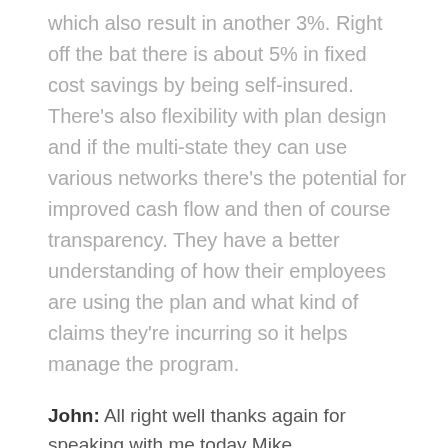which also result in another 3%. Right off the bat there is about 5% in fixed cost savings by being self-insured. There's also flexibility with plan design and if the multi-state they can use various networks there's the potential for improved cash flow and then of course transparency. They have a better understanding of how their employees are using the plan and what kind of claims they're incurring so it helps manage the program.
John: All right well thanks again for speaking with me today Mike.
Mike: Thank you very much.
John: And for more information you can visit https://insightperformance.com/ or call (781)